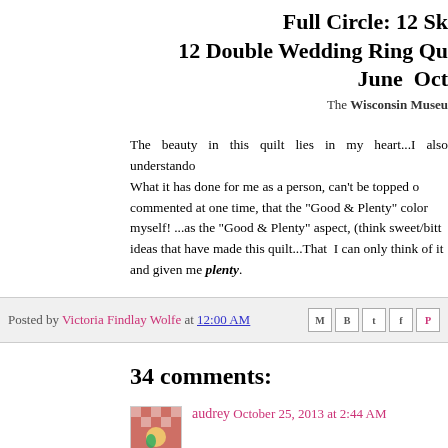Full Circle: 12 Sk... 12 Double Wedding Ring Qu... June  Oct...
The Wisconsin Museu...
The beauty in this quilt lies in my heart...I also understand... What it has done for me as a person, can't be topped o... commented at one time, that the "Good & Plenty" color ... myself! ...as the "Good & Plenty" aspect, (think sweet/bitt... ideas that have made this quilt...That  I can only think of it... and given me plenty.
Posted by Victoria Findlay Wolfe at 12:00 AM
34 comments:
audrey  October 25, 2013 at 2:44 AM